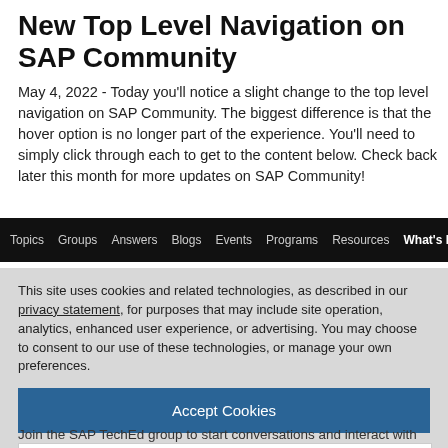New Top Level Navigation on SAP Community
May 4, 2022 - Today you'll notice a slight change to the top level navigation on SAP Community. The biggest difference is that the hover option is no longer part of the experience. You'll need to simply click through each to get to the content below. Check back later this month for more updates on SAP Community!
[Figure (screenshot): Black navigation bar with menu items: Topics, Groups, Answers, Blogs, Events, Programs, Resources, What's New]
This site uses cookies and related technologies, as described in our privacy statement, for purposes that may include site operation, analytics, enhanced user experience, or advertising. You may choose to consent to our use of these technologies, or manage your own preferences.
Accept Cookies
More Information
Privacy Policy | Powered by: TrustArc
Join the SAP TechEd group to start conversations and interact with